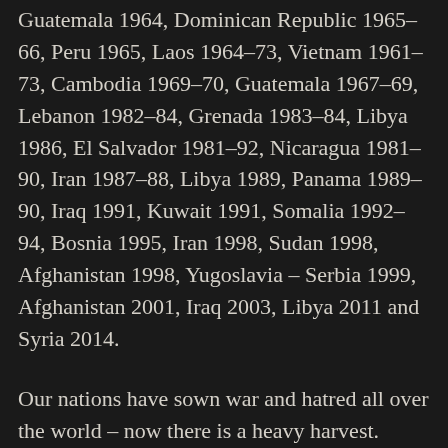Guatemala 1964, Dominican Republic 1965–66, Peru 1965, Laos 1964–73, Vietnam 1961–73, Cambodia 1969–70, Guatemala 1967–69, Lebanon 1982–84, Grenada 1983–84, Libya 1986, El Salvador 1981–92, Nicaragua 1981–90, Iran 1987–88, Libya 1989, Panama 1989–90, Iraq 1991, Kuwait 1991, Somalia 1992–94, Bosnia 1995, Iran 1998, Sudan 1998, Afghanistan 1998, Yugoslavia – Serbia 1999, Afghanistan 2001, Iraq 2003, Libya 2011 and Syria 2014.
Our nations have sown war and hatred all over the world – now there is a heavy harvest.
As a white English father I despair for the future for my children and the children of